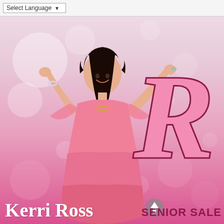Select Language ▼
[Figure (photo): A woman with long dark hair wearing a pink dress, arms raised up, smiling, standing against a white and pink bokeh background. Large decorative letter R visible on the right side.]
Kerri Ross
SENIOR SALE